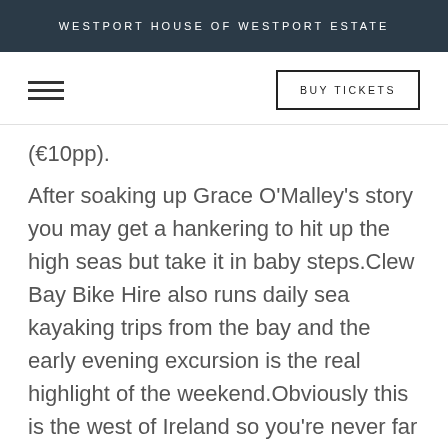WESTPORT HOUSE OF WESTPORT ESTATE
(€10pp).
After soaking up Grace O'Malley's story you may get a hankering to hit up the high seas but take it in baby steps.Clew Bay Bike Hire also runs daily sea kayaking trips from the bay and the early evening excursion is the real highlight of the weekend.Obviously this is the west of Ireland so you're never far from a rain check, but we lucked out with one of the calmest evenings in months – with barely a ripple in the sea and